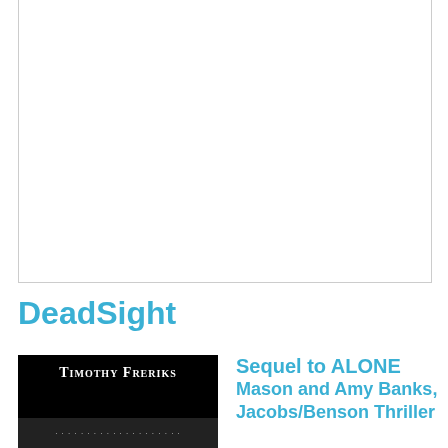[Figure (other): Large blank white image placeholder with a thin border]
DeadSight
[Figure (photo): Book cover for DeadSight by Timothy Freriks showing the author name in white on a dark background with a city scene]
Sequel to ALONE
Mason and Amy Banks, Jacobs/Benson Thriller